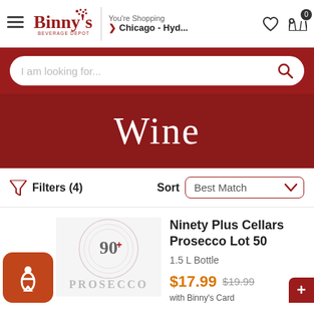Binny's Beverage Depot — You're Shopping Chicago - Hyd...
I am looking for...
Wine
Filters (4)  Sort  Best Match
Ninety Plus Cellars Prosecco Lot 50
1.5 L Bottle
$17.99  $19.99
with Binny's Card